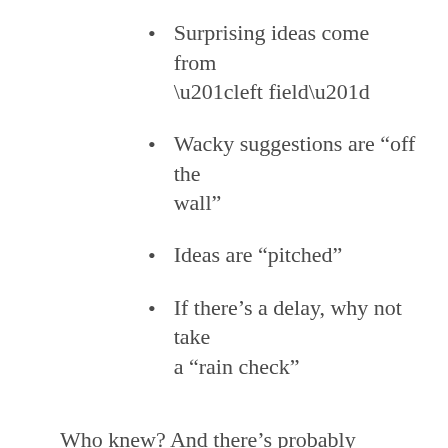Surprising ideas come from “left field”
Wacky suggestions are “off the wall”
Ideas are “pitched”
If there’s a delay, why not take a “rain check”
Who knew? And there’s probably more besides. Consider the comparison with cricket. There’s